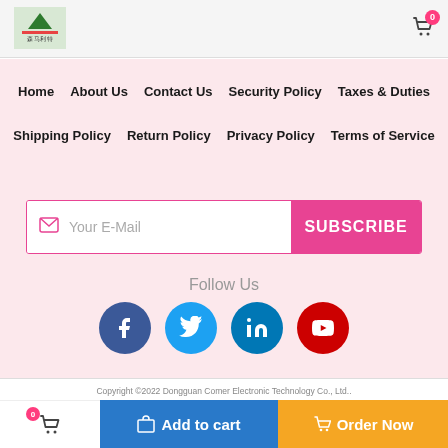← [Logo] 🔍 🛒 0
Home  About Us  Contact Us  Security Policy  Taxes & Duties
Shipping Policy  Return Policy  Privacy Policy  Terms of Service
[Figure (other): Email subscription bar with envelope icon, 'Your E-Mail' placeholder text, and pink SUBSCRIBE button]
Follow Us
[Figure (other): Social media icons: Facebook (blue circle), Twitter (blue circle), LinkedIn (teal circle), YouTube (red circle)]
Copyright ©2022 Dongguan Comer Electronic Technology Co., Ltd..  Privacy Policy  |  Terms Of Use  |  Site Map
[Figure (other): Payment method logos: PayPal, UPS, EMS, DHL, FedEx]
🛒 0  Add to cart  Order Now